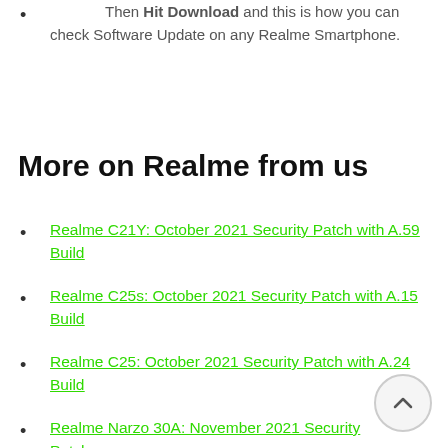Then Hit Download and this is how you can check Software Update on any Realme Smartphone.
More on Realme from us
Realme C21Y: October 2021 Security Patch with A.59 Build
Realme C25s: October 2021 Security Patch with A.15 Build
Realme C25: October 2021 Security Patch with A.24 Build
Realme Narzo 30A: November 2021 Security Patch